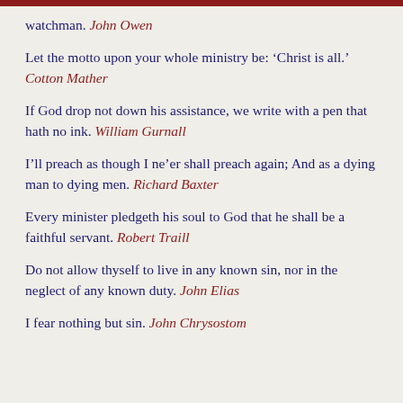watchman. John Owen
Let the motto upon your whole ministry be: ‘Christ is all.’ Cotton Mather
If God drop not down his assistance, we write with a pen that hath no ink. William Gurnall
I’ll preach as though I ne’er shall preach again; And as a dying man to dying men. Richard Baxter
Every minister pledgeth his soul to God that he shall be a faithful servant. Robert Traill
Do not allow thyself to live in any known sin, nor in the neglect of any known duty. John Elias
I fear nothing but sin. John Chrysostom